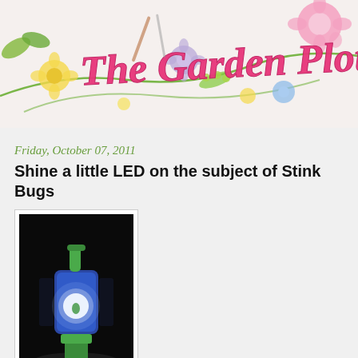[Figure (illustration): The Garden Plot blog header banner with colorful illustrated flowers, leaves, fruits and vegetables in pink, green, yellow, blue and lavender tones. Pink cursive script reads 'The Garden Plot' overlaid on the floral illustration.]
Friday, October 07, 2011
Shine a little LED on the subject of Stink Bugs
[Figure (photo): A glowing blue LED light trap device photographed against a dark background. The trap has a green cylindrical base and a blue illuminated chamber at the top with a white LED light visible inside, and a green collection bag at the bottom.]
If you think you're safe, beware. Researchers